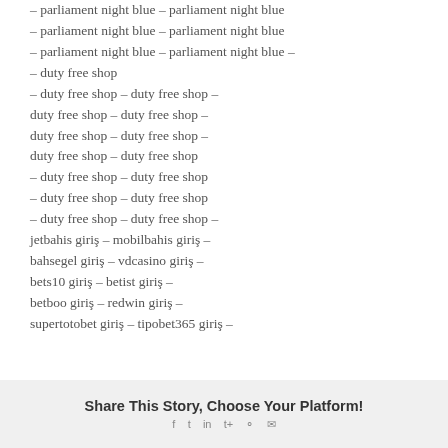– parliament night blue – parliament night blue
– parliament night blue – parliament night blue
– parliament night blue – parliament night blue –
– duty free shop
– duty free shop – duty free shop –
duty free shop – duty free shop –
duty free shop – duty free shop –
duty free shop – duty free shop
– duty free shop – duty free shop
– duty free shop – duty free shop
– duty free shop – duty free shop –
jetbahis giriş – mobilbahis giriş –
bahsegel giriş – vdcasino giriş –
bets10 giriş – betist giriş –
betboo giriş – redwin giriş –
supertotobet giriş – tipobet365 giriş –
Share This Story, Choose Your Platform!